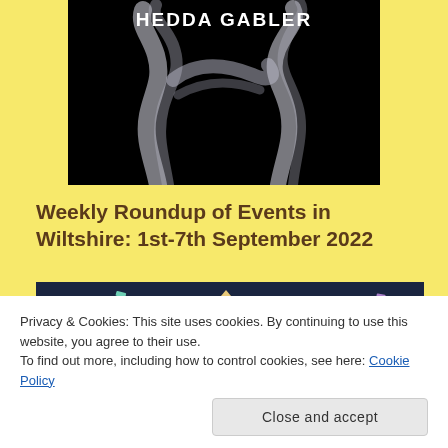[Figure (photo): Black background image with white smoke swirls and 'HEDDA GABLER' text at top in white bold letters]
Weekly Roundup of Events in Wiltshire: 1st-7th September 2022
[Figure (photo): Colorful terrazzo-style pattern on dark navy background with multicolored confetti shapes]
Privacy & Cookies: This site uses cookies. By continuing to use this website, you agree to their use.
To find out more, including how to control cookies, see here: Cookie Policy
Close and accept